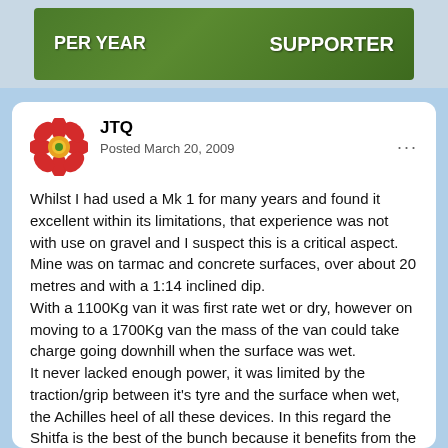[Figure (photo): Green grass background banner with text 'PER YEAR' on the left and 'SUPPORTER' on the right in white bold text]
JTQ
Posted March 20, 2009
Whilst I had used a Mk 1 for many years and found it excellent within its limitations, that experience was not with use on gravel and I suspect this is a critical aspect. Mine was on tarmac and concrete surfaces, over about 20 metres and with a 1:14 inclined dip.
With a 1100Kg van it was first rate wet or dry, however on moving to a 1700Kg van the mass of the van could take charge going downhill when the surface was wet.
It never lacked enough power, it was limited by the traction/grip between it's tyre and the surface when wet, the Achilles heel of all these devices. In this regard the Shitfa is the best of the bunch because it benefits from the